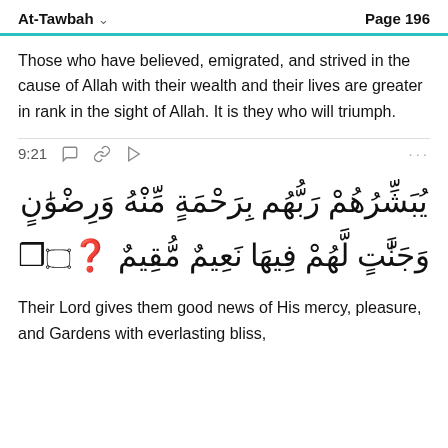At-Tawbah   Page 196
Those who have believed, emigrated, and strived in the cause of Allah with their wealth and their lives are greater in rank in the sight of Allah. It is they who will triumph.
9:21
[Figure (other): Arabic Quranic verse text: يُبَشِّرُهُمْ رَبُّهُم بِرَحْمَةٍ مِّنْهُ وَرِضْوَٰنٍ وَجَنَّٰتٍ لَّهُمْ فِيهَا نَعِيمٌ مُّقِيمٌ ﴿٢١﴾]
Their Lord gives them good news of His mercy, pleasure, and Gardens with everlasting bliss,